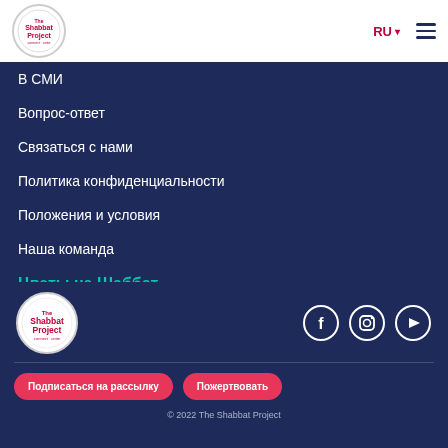The Shabbat Project | RU | Menu
В СМИ
Вопрос-ответ
Связаться с нами
Политика конфиденциальности
Положения и условия
Наша команда
Цветы на Шаббат
The Shabbat Project logo | Social icons: Facebook, Instagram, YouTube | Подписаться на рассылку | Пожертвовать | © 2022 The Shabbat Project